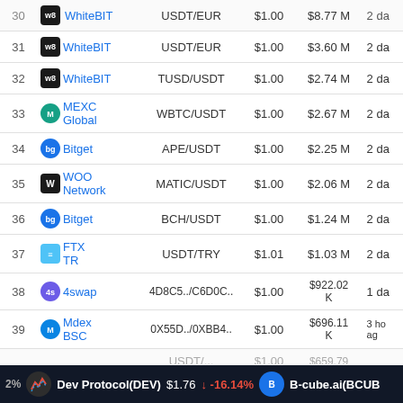| # | Exchange | Pair | Price | Volume | Updated |
| --- | --- | --- | --- | --- | --- |
| 30 (partial) | WhiteBIT | USDT/EUR (partial) | $1.00 (partial) | $8.77 M (partial) | 2 da (partial) |
| 31 | WhiteBIT | USDT/EUR | $1.00 | $3.60 M | 2 da |
| 32 | WhiteBIT | TUSD/USDT | $1.00 | $2.74 M | 2 da |
| 33 | MEXC Global | WBTC/USDT | $1.00 | $2.67 M | 2 da |
| 34 | Bitget | APE/USDT | $1.00 | $2.25 M | 2 da |
| 35 | WOO Network | MATIC/USDT | $1.00 | $2.06 M | 2 da |
| 36 | Bitget | BCH/USDT | $1.00 | $1.24 M | 2 da |
| 37 | FTX TR | USDT/TRY | $1.01 | $1.03 M | 2 da |
| 38 | 4swap | 4D8C5../C6D0C... | $1.00 | $922.02 K | 1 da |
| 39 | Mdex BSC | 0X55D../0XBB4... | $1.00 | $696.11 K | 3 ho ag |
| 40 (partial) |  | USDT/... (partial) | $1.00 | $659.79 (partial) |  |
Dev Protocol(DEV) $1.76 -16.14% | B-cube.ai(BCUB...